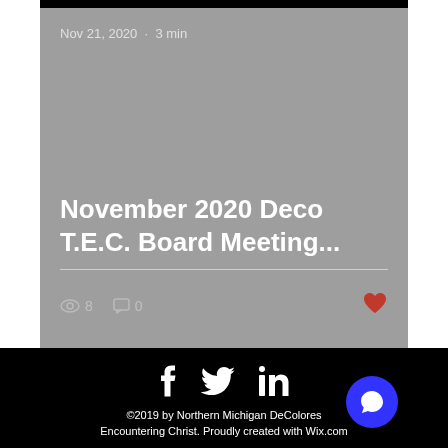Nov 21, 2020 · 3 min
November 2020 Deco T.E.C. Board Meeting...
8 views · 0 comments
[Figure (infographic): Social media icons: Facebook, Twitter, LinkedIn]
©2019 by Northern Michigan DeColores Encountering Christ. Proudly created with Wix.com